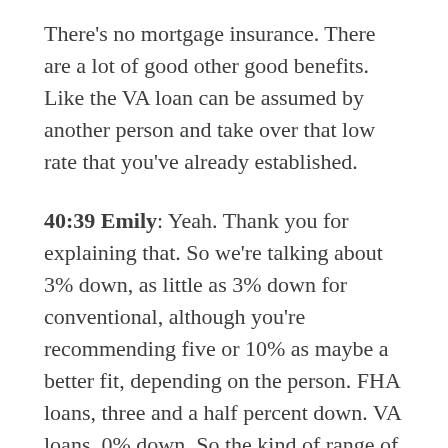There's no mortgage insurance. There are a lot of good other good benefits. Like the VA loan can be assumed by another person and take over that low rate that you've already established.
40:39 Emily: Yeah. Thank you for explaining that. So we're talking about 3% down, as little as 3% down for conventional, although you're recommending five or 10% as maybe a better fit, depending on the person. FHA loans, three and a half percent down. VA loans, 0% down. So the kind of range of